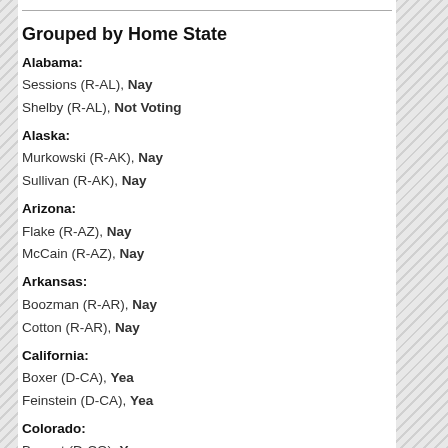Grouped by Home State
Alabama:
Sessions (R-AL), Nay
Shelby (R-AL), Not Voting
Alaska:
Murkowski (R-AK), Nay
Sullivan (R-AK), Nay
Arizona:
Flake (R-AZ), Nay
McCain (R-AZ), Nay
Arkansas:
Boozman (R-AR), Nay
Cotton (R-AR), Nay
California:
Boxer (D-CA), Yea
Feinstein (D-CA), Yea
Colorado:
Bennet (D-CO), Yea
Gardner (R-CO), Nay
Connecticut:
Blumenthal (D-CT), Yea